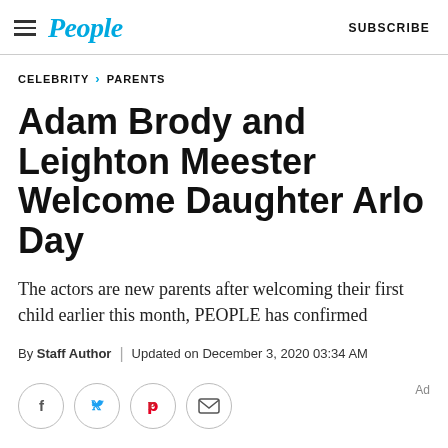People — SUBSCRIBE
CELEBRITY > PARENTS
Adam Brody and Leighton Meester Welcome Daughter Arlo Day
The actors are new parents after welcoming their first child earlier this month, PEOPLE has confirmed
By Staff Author | Updated on December 3, 2020 03:34 AM
[Figure (other): Social share icons: Facebook, Twitter, Pinterest, Email]